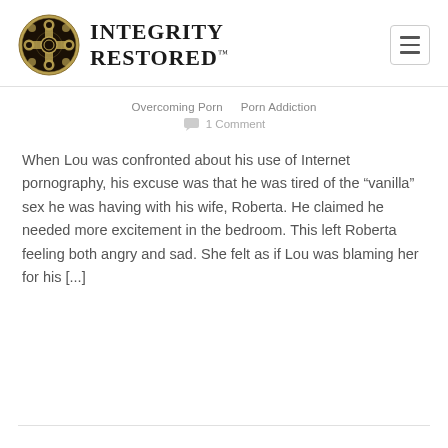[Figure (logo): Integrity Restored logo: circular ornate gold and black emblem with cross and floral motifs, beside text 'INTEGRITY RESTORED' in bold serif uppercase]
Overcoming Porn   Porn Addiction
1 Comment
When Lou was confronted about his use of Internet pornography, his excuse was that he was tired of the “vanilla” sex he was having with his wife, Roberta. He claimed he needed more excitement in the bedroom. This left Roberta feeling both angry and sad. She felt as if Lou was blaming her for his [...]